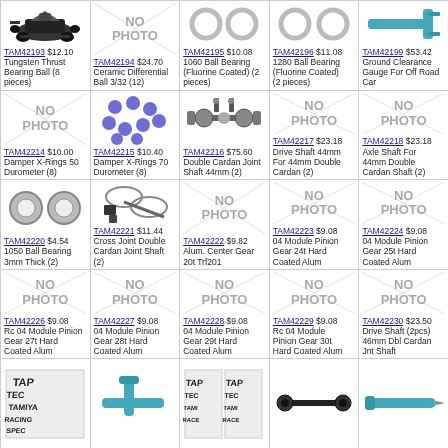[Figure (photo): RC car / formula car model photo]
TAM42193 $12.10 Tungsten Thrust Bearing Ball (8 pieces}
[Figure (other): No Photo placeholder]
TAM42194 $24.70 Ceramic Differential Ball 3/32 (12)
[Figure (photo): Two small rings/bearings]
TAM42195 $10.08 1060 Ball Bearing (Fluorine Coated) (2 pieces)
[Figure (photo): Two rings/bearings]
TAM42196 $11.08 1280 Ball Bearing (Fluorine Coated) (2 pieces)
[Figure (photo): Blue ground clearance gauge tool]
TAM42199 $53.42 Ground Clearance Gauge For Off Road Car
[Figure (other): No Photo placeholder]
TAM42214 $10.00 Damper X-Rings 50 Durometer (8)
[Figure (photo): Blue damper x-rings parts]
TAM42215 $10.40 Damper X-Rings 70 Durometer (8)
[Figure (photo): Double cardan joint shaft parts]
TAM42216 $75.60 Double Cardan Joint Shaft 44mm (2)
[Figure (other): No Photo placeholder]
TAM42217 $23.18 Drive Shaft 44mm For 44mm Double Cardan (2)
[Figure (other): No Photo placeholder]
TAM42218 $23.18 Axle Shaft For 44mm Double Cardan Shaft (2)
[Figure (photo): Two ball bearings]
TAM42220 $4.54 1050 Ball Bearing 3mm Thick (2)
[Figure (photo): Cross joint double cardan joint shaft parts]
TAM42221 $11.44 Cross Joint Double Cardan Joint Shaft (2)
[Figure (other): No Photo placeholder]
TAM42222 $9.82 Alum. Center Gear 20t Trf201
[Figure (other): No Photo placeholder]
TAM42223 $9.08 04 Module Pinion Gear 24t Hard Coated Alum
[Figure (other): No Photo placeholder]
TAM42224 $9.08 04 Module Pinion Gear 25t Hard Coated Alum
[Figure (other): No Photo placeholder]
TAM42226 $9.08 Rc 04 Module Pinion Gear 27t Hard Coated Alum
[Figure (other): No Photo placeholder]
TAM42227 $9.08 04 Module Pinion Gear 28t Hard Coated Alum
[Figure (other): No Photo placeholder]
TAM42228 $9.08 04 Module Pinion Gear 29t Hard Coated Alum
[Figure (other): No Photo placeholder]
TAM42229 $9.08 Rc 04 Module Pinion Gear 30t Hard Coated Alum
[Figure (other): No Photo placeholder]
TAM42230 $23.50 Drive Shaft (2pcs) 46mm Dbl Cardan Jnt Shaft
[Figure (photo): TAP decal/sticker sheet]
[Figure (photo): Blue tool/wrench]
[Figure (photo): TAP decal/sticker sheets two]
[Figure (photo): Black linkage/rod parts]
[Figure (photo): Blue screwdriver/tool]